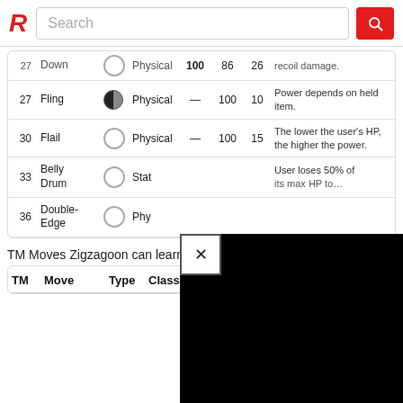R Search
|  | Move | Type | Class | Pow | Acc | PP | Effect |
| --- | --- | --- | --- | --- | --- | --- | --- |
| 27 |  | Down |  | Physical | 100 | 86 | 26 | recoil damage. |
| 27 | Fling |  | Physical | — | 100 | 10 | Power depends on held item. |
| 30 | Flail |  | Physical | — | 100 | 15 | The lower the user's HP, the higher the power. |
| 33 | Belly Drum |  | Stat |  |  |  | User loses 50% of... |
| 36 | Double-Edge |  | Phy |  |  |  |  |
TM Moves Zigzagoon can learn
| TM | Move | Type | Class | Pow | Acc | PP | Effect |
| --- | --- | --- | --- | --- | --- | --- | --- |